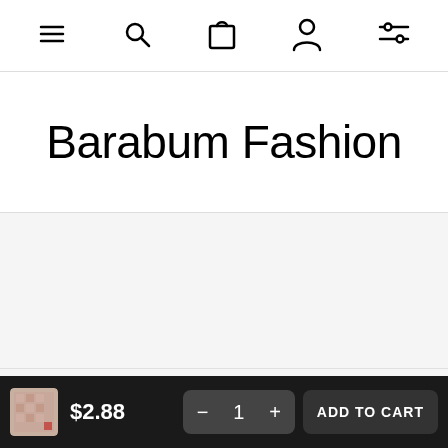Navigation bar with menu, search, cart, user, and filter icons
Barabum Fashion
[Figure (photo): Product image area (blank/gray)]
COMPANY INFO
$2.88  — 1 +  ADD TO CART